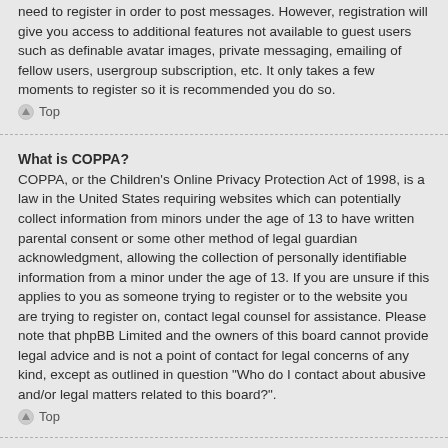need to register in order to post messages. However, registration will give you access to additional features not available to guest users such as definable avatar images, private messaging, emailing of fellow users, usergroup subscription, etc. It only takes a few moments to register so it is recommended you do so.
Top
What is COPPA?
COPPA, or the Children’s Online Privacy Protection Act of 1998, is a law in the United States requiring websites which can potentially collect information from minors under the age of 13 to have written parental consent or some other method of legal guardian acknowledgment, allowing the collection of personally identifiable information from a minor under the age of 13. If you are unsure if this applies to you as someone trying to register or to the website you are trying to register on, contact legal counsel for assistance. Please note that phpBB Limited and the owners of this board cannot provide legal advice and is not a point of contact for legal concerns of any kind, except as outlined in question “Who do I contact about abusive and/or legal matters related to this board?”.
Top
Why can’t I register?
It is possible a board administrator has disabled registration to prevent new visitors from signing up. A board administrator could have also banned your IP address or disallowed the username you are attempting to register. Contact a board administrator for assistance.
Top